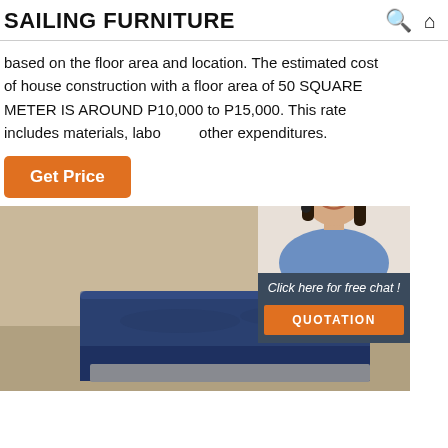SAILING FURNITURE
based on the floor area and location. The estimated cost of house construction with a floor area of 50 SQUARE METER IS AROUND P10,000 to P15,000. This rate includes materials, labor and other expenditures.
Get Price
[Figure (photo): Blue upholstered furniture piece (chair or ottoman) with navy velvet fabric on a light beige/tan background]
[Figure (infographic): 24/7 Online customer service chat widget with female customer service agent wearing headset, 'Click here for free chat!' text, and orange QUOTATION button]